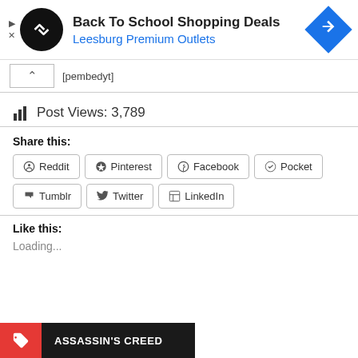[Figure (screenshot): Ad banner: Back To School Shopping Deals at Leesburg Premium Outlets with logo and navigation icon]
[pembedyt]
Post Views: 3,789
Share this:
Reddit
Pinterest
Facebook
Pocket
Tumblr
Twitter
LinkedIn
Like this:
Loading...
ASSASSIN'S CREED